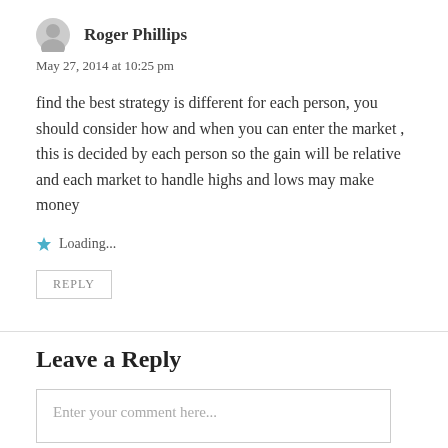Roger Phillips
May 27, 2014 at 10:25 pm
find the best strategy is different for each person, you should consider how and when you can enter the market , this is decided by each person so the gain will be relative and each market to handle highs and lows may make money
Loading...
REPLY
Leave a Reply
Enter your comment here...